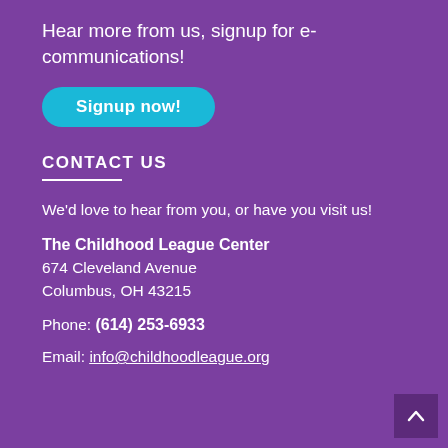Hear more from us, signup for e-communications!
Signup now!
CONTACT US
We'd love to hear from you, or have you visit us!
The Childhood League Center
674 Cleveland Avenue
Columbus, OH 43215
Phone: (614) 253-6933
Email: info@childhoodleague.org